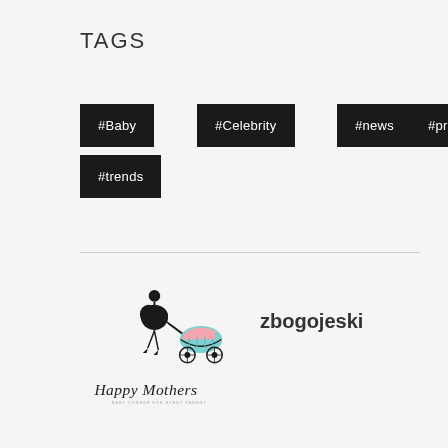TAGS
#Baby
#Celebrity
#news
#pregnant
#trends
[Figure (logo): Happy Mothers logo with stylized woman pushing a baby pram, cursive script text reading 'Happy Mothers']
zbogojeski